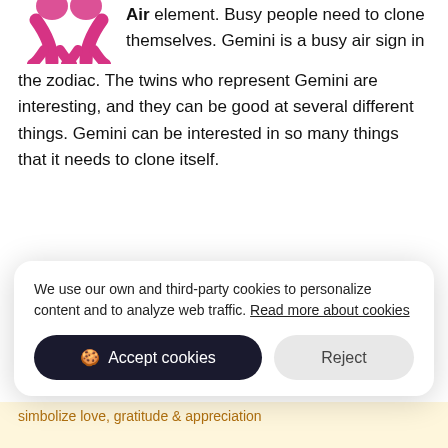Air element. Busy people need to clone themselves. Gemini is a busy air sign in the zodiac. The twins who represent Gemini are interesting, and they can be good at several different things. Gemini can be interested in so many things that it needs to clone itself.
[Figure (illustration): Pink/magenta Gemini twins symbol icon]
[Figure (photo): A white pearl gemstone]
People born on June 10, 2011 have three birthstones to choose from — pearl, alexandrite and moonstone.
We use our own and third-party cookies to personalize content and to analyze web traffic. Read more about cookies
simbolize love, gratitude & appreciation